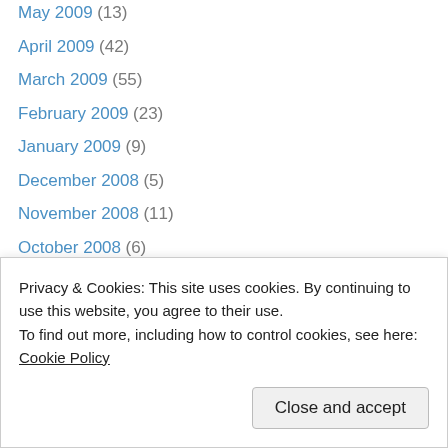May 2009 (13)
April 2009 (42)
March 2009 (55)
February 2009 (23)
January 2009 (9)
December 2008 (5)
November 2008 (11)
October 2008 (6)
September 2008 (3)
August 2008 (4)
July 2008 (7)
June 2008 (3)
May 2008 (1)
April 2008 (2)
October 2007 (3)
Privacy & Cookies: This site uses cookies. By continuing to use this website, you agree to their use. To find out more, including how to control cookies, see here: Cookie Policy